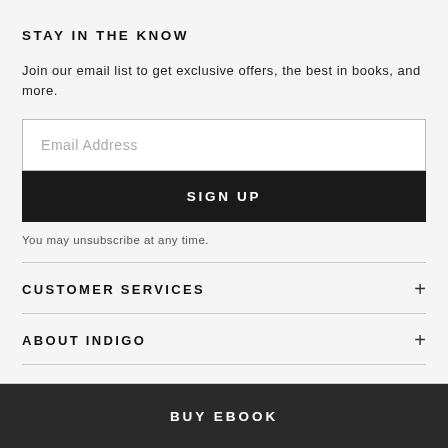STAY IN THE KNOW
Join our email list to get exclusive offers, the best in books, and more.
Email Address
SIGN UP
You may unsubscribe at any time.
CUSTOMER SERVICES
ABOUT INDIGO
BUY EBOOK